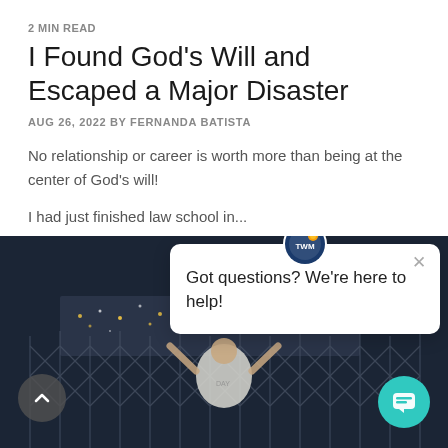2 MIN READ
I Found God’s Will and Escaped a Major Disaster
AUG 26, 2022 BY FERNANDA BATISTA
No relationship or career is worth more than being at the center of God’s will!
I had just finished law school in…
[Figure (photo): Person standing at a chain-link fence overlooking a city at night, wearing a white t-shirt, arms raised]
Got questions? We’re here to help!